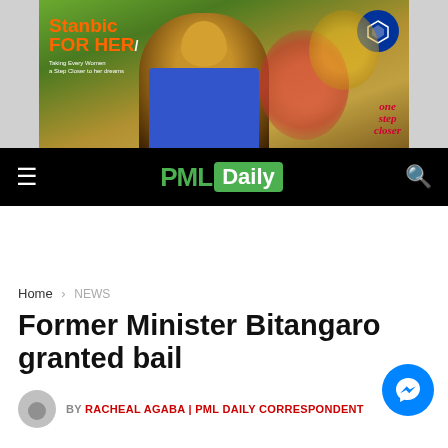[Figure (photo): Stanbic Bank 'For Her' advertisement banner featuring a woman vendor at a market stall with vegetables, with logo and 'one step closer' tagline]
PML Daily
Home > NEWS
Former Minister Bitangaro granted bail
BY RACHEAL AGABA | PML DAILY CORRESPONDENT